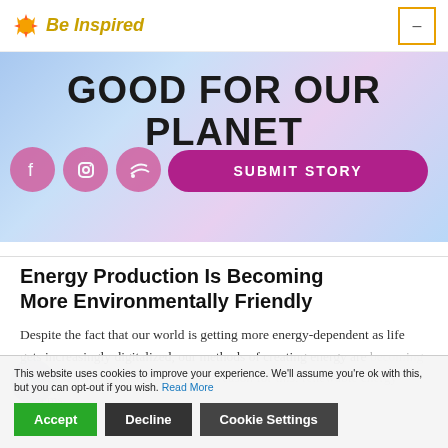Be Inspired
GOOD FOR OUR PLANET
[Figure (illustration): Social media icons: Facebook, Instagram, RSS feed circles in pink/magenta]
[Figure (illustration): Submit Story button in magenta/purple rounded rectangle]
Energy Production Is Becoming More Environmentally Friendly
Despite the fact that our world is getting more energy-dependent as life gets increasingly digitalized, our methods of creating energy are becoming cleaner. There is, of course, one key reason for this: renewable energy systems.
...lear energy is a safe, zero and ...carbon solution
This website uses cookies to improve your experience. We'll assume you're ok with this, but you can opt-out if you wish. Read More
Accept
Decline
Cookie Settings